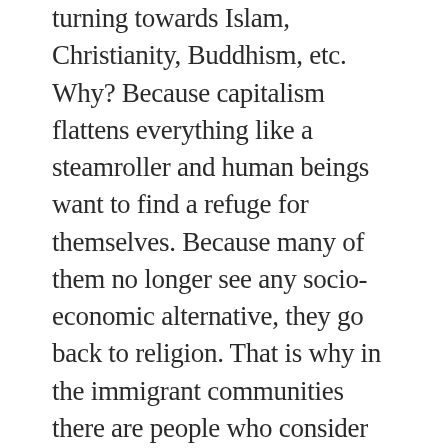turning towards Islam, Christianity, Buddhism, etc. Why? Because capitalism flattens everything like a steamroller and human beings want to find a refuge for themselves. Because many of them no longer see any socio-economic alternative, they go back to religion. That is why in the immigrant communities there are people who consider their identity from a purely religious point of view, and I don't expect anything good to come from that. But I also think that all that will change with the coming generation. Today people are not all religious with